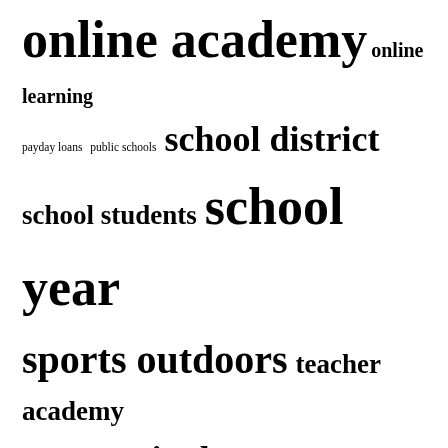[Figure (other): Tag cloud with terms of varying font sizes: 'online academy', 'online learning', 'payday loans', 'public schools', 'school district', 'school students', 'school year', 'sports outdoors', 'teacher academy', 'teachers academy', 'united states', 'virtual learning']
RECENT POSTS
Why do people choose payday loans?
Region 16 First Grade Teacher Academy Helps New Teachers Succeed
Academy Sports + Outdoors opens new store in Atlanta, Georgia
Which states have the highest and lowest credit card debt?